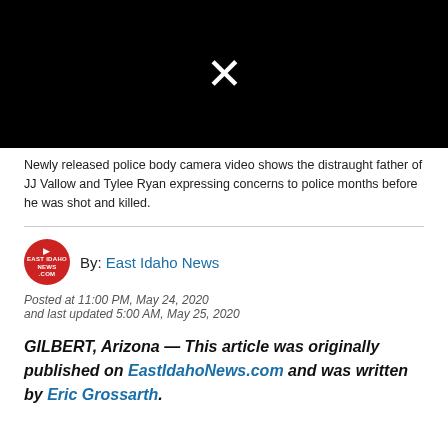[Figure (screenshot): Black video player with white X icon in the center, representing a blocked or unavailable video embed]
Newly released police body camera video shows the distraught father of JJ Vallow and Tylee Ryan expressing concerns to police months before he was shot and killed.
By: East Idaho News
Posted at 11:00 PM, May 24, 2020
and last updated 5:00 AM, May 25, 2020
GILBERT, Arizona — This article was originally published on EastIdahoNews.com and was written by Eric Grossarth.